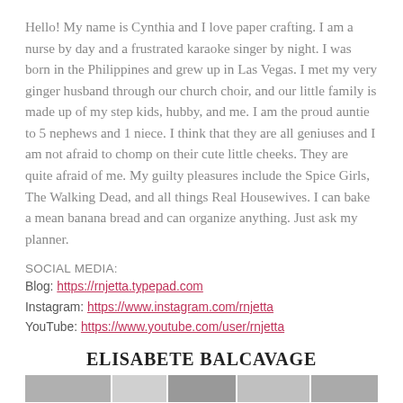Hello! My name is Cynthia and I love paper crafting. I am a nurse by day and a frustrated karaoke singer by night. I was born in the Philippines and grew up in Las Vegas. I met my very ginger husband through our church choir, and our little family is made up of my step kids, hubby, and me. I am the proud auntie to 5 nephews and 1 niece. I think that they are all geniuses and I am not afraid to chomp on their cute little cheeks. They are quite afraid of me. My guilty pleasures include the Spice Girls, The Walking Dead, and all things Real Housewives. I can bake a mean banana bread and can organize anything. Just ask my planner.
SOCIAL MEDIA:
Blog: https://rnjetta.typepad.com
Instagram: https://www.instagram.com/rnjetta
YouTube: https://www.youtube.com/user/rnjetta
ELISABETE BALCAVAGE
[Figure (photo): Strip of photo thumbnails at the bottom of the page]